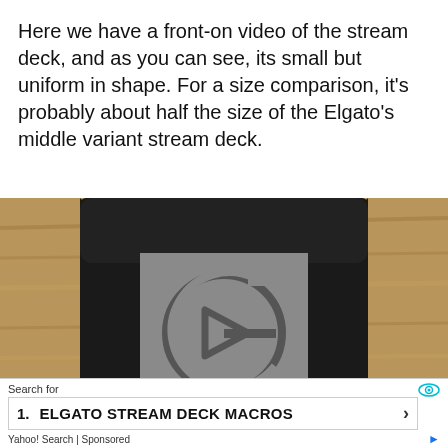Here we have a front-on video of the stream deck, and as you can see, its small but uniform in shape. For a size comparison, it's probably about half the size of the Elgato's middle variant stream deck.
[Figure (photo): Front-on photo of an Elgato Stream Deck Mini device showing the top face with the Elgato logo (a G-shaped circle with a play triangle inside) engraved on a gray textured surface, set against a wooden background with blue device bottom visible.]
Search for
1. ELGATO STREAM DECK MACROS
Yahoo! Search | Sponsored